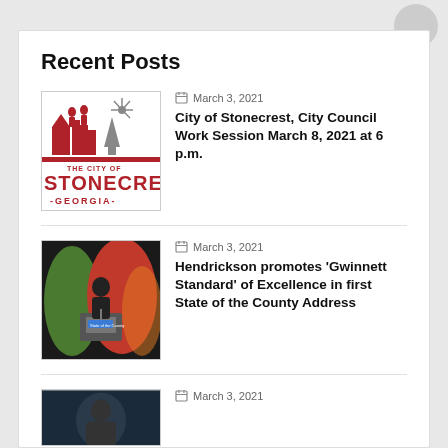Recent Posts
[Figure (logo): City of Stonecrest, Georgia logo with red buildings and sun graphic]
March 3, 2021
City of Stonecrest, City Council Work Session March 8, 2021 at 6 p.m.
[Figure (photo): Woman speaking at podium on stage with colorful background, State of the County Address]
March 3, 2021
Hendrickson promotes 'Gwinnett Standard' of Excellence in first State of the County Address
[Figure (photo): Person partially visible, bottom of page]
March 3, 2021